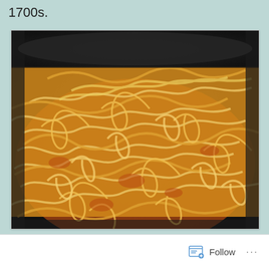1700s.
[Figure (photo): Close-up photograph of spaghetti pasta coated in tomato sauce in a dark pan, filling the entire frame with golden-yellow noodles and orange-red sauce.]
Follow ...